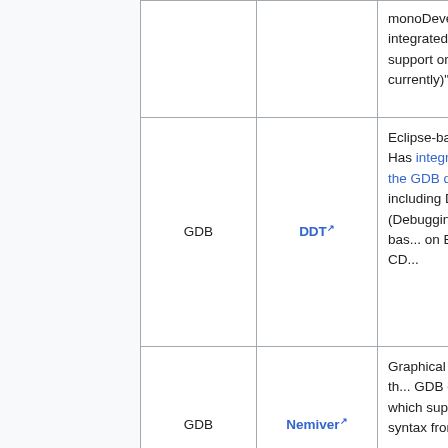| (col1) | (col2) | (col3) | (col4) |
| --- | --- | --- | --- |
|  |  |  | monoDevelop integrated gd... support on Li... currently)" |
| GDB | DDT [ext] |  | Eclipse-based IDE. Has integration with the GDB debugger [ext], including D support. (Debugging support is bas... on Eclipse CD... |
| GDB | Nemiver [ext] |  | Graphical frontend to th... GDB debugg... which suppor... full D syntax from version |